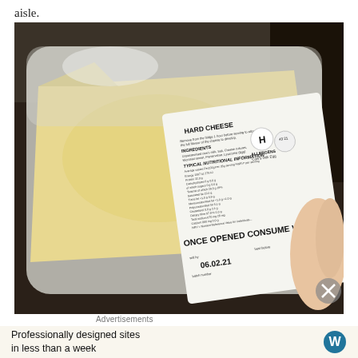aisle.
[Figure (photo): A hand holding a packaged wedge of hard cheese in a plastic tray. The label on the package reads 'HARD CHEESE' and includes ingredient information, typical nutritional information table (per 100g and per 35g serving), allergens (cow's milk, egg), and instructions 'ONCE OPENED CONSUME WITHIN 5 DAYS'. Sell by date: 06.02.21.]
Advertisements
Professionally designed sites in less than a week